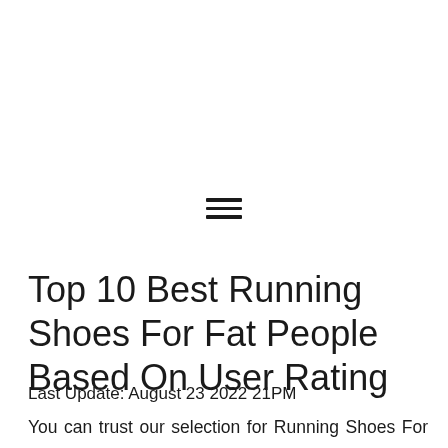[Figure (other): Hamburger menu icon — three horizontal lines stacked vertically, centered on the page]
Top 10 Best Running Shoes For Fat People Based On User Rating
Last Update: August 23 2022 21PM
You can trust our selection for Running Shoes For Fat People Reviews. Because We have worked hard